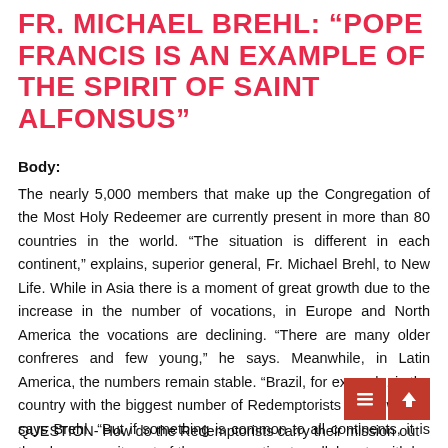FR. MICHAEL BREHL: "POPE FRANCIS IS AN EXAMPLE OF THE SPIRIT OF SAINT ALFONSUS"
Body:
The nearly 5,000 members that make up the Congregation of the Most Holy Redeemer are currently present in more than 80 countries in the world. “The situation is different in each continent,” explains, superior general, Fr. Michael Brehl, to New Life. While in Asia there is a moment of great growth due to the increase in the number of vocations, in Europe and North America the vocations are declining. “There are many older confreres and few young,” he says. Meanwhile, in Latin America, the numbers remain stable. “Brazil, for example, is the country with the biggest number of Redemptorists in the world,” says Brehl. “But if something is common to all continents, it is the clear commitment of the congregation to collaborate with lay people, women and men, prepared and trained to do the mission with us.”
QUESTION- How do the Redemptorists carry their mission out